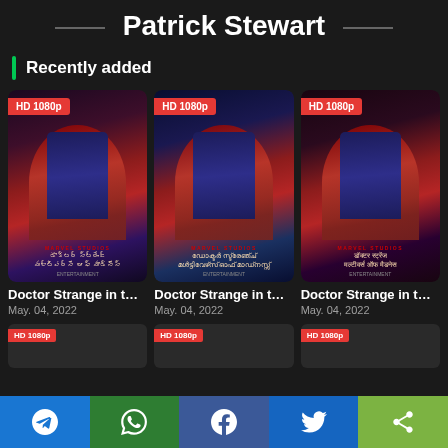Patrick Stewart
Recently added
[Figure (other): Movie poster for Doctor Strange in the Multiverse of Madness (Telugu dub) with HD 1080p badge]
[Figure (other): Movie poster for Doctor Strange in the Multiverse of Madness (Malayalam dub) with HD 1080p badge]
[Figure (other): Movie poster for Doctor Strange in the Multiverse of Madness (Hindi dub) with HD 1080p badge]
Doctor Strange in t...
May. 04, 2022
Doctor Strange in t...
May. 04, 2022
Doctor Strange in t...
May. 04, 2022
Telegram | WhatsApp | Facebook | Twitter | Share